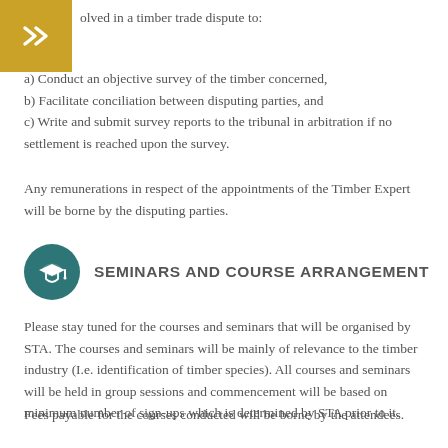olved in a timber trade dispute to:
a) Conduct an objective survey of the timber concerned,
b) Facilitate conciliation between disputing parties, and
c) Write and submit survey reports to the tribunal in arbitration if no settlement is reached upon the survey.
Any remunerations in respect of the appointments of the Timber Expert will be borne by the disputing parties.
SEMINARS AND COURSE ARRANGEMENT
Please stay tuned for the courses and seminars that will be organised by STA. The courses and seminars will be mainly of relevance to the timber industry (I.e. identification of timber species). All courses and seminars will be held in group sessions and commencement will be based on minimum number of sign-ups which is determined by STA prior to it.
Fees payable for the courses conducted will be borne by the attendees.